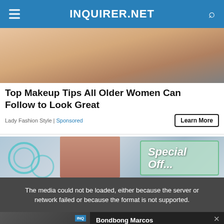INQUIRER.NET
[Figure (photo): Close-up photo of a woman's face with makeup, cropped to show nose, cheeks and a dark cylindrical object on the right side]
Top Makeup Tips All Older Women Can Follow to Look Great
Lady Fashion Style | Sponsored
[Figure (screenshot): Advertisement image showing circles graphic, a person, and text reading 'Special Offer' on a light background]
The media could not be loaded, either because the server or network failed or because the format is not supported.
[Figure (screenshot): Video widget thumbnail showing text 'BONGBONG MARCOS SEES STRONG PARTNERSHIP WITH INDONESIA' with Inquirer logo overlay]
Bondbong Marcos sees strong partnership with Indonesia